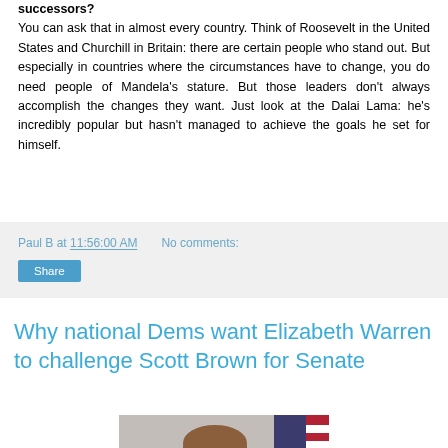successors? You can ask that in almost every country. Think of Roosevelt in the United States and Churchill in Britain: there are certain people who stand out. But especially in countries where the circumstances have to change, you do need people of Mandela's stature. But those leaders don't always accomplish the changes they want. Just look at the Dalai Lama: he's incredibly popular but hasn't managed to achieve the goals he set for himself.
Paul B at 11:56:00 AM   No comments:
Share
Why national Dems want Elizabeth Warren to challenge Scott Brown for Senate
[Figure (photo): Photo of a woman with brown hair and glasses, with an American flag in the background]